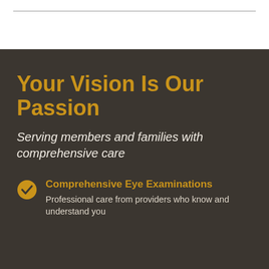Your Vision Is Our Passion
Serving members and families with comprehensive care
Comprehensive Eye Examinations
Professional care from providers who know and understand you